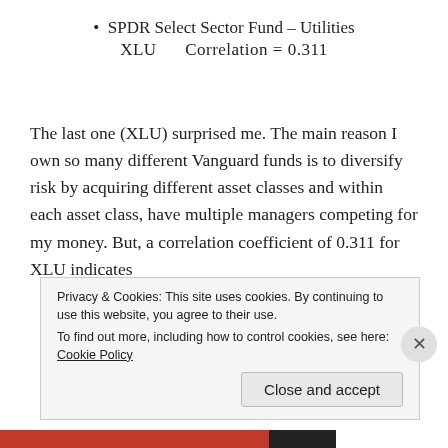SPDR Select Sector Fund – Utilities
XLU    Correlation = 0.311
The last one (XLU) surprised me. The main reason I own so many different Vanguard funds is to diversify risk by acquiring different asset classes and within each asset class, have multiple managers competing for my money. But, a correlation coefficient of 0.311 for XLU indicates
Privacy & Cookies: This site uses cookies. By continuing to use this website, you agree to their use.
To find out more, including how to control cookies, see here: Cookie Policy
Close and accept